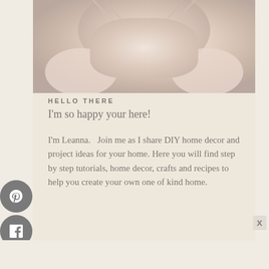[Figure (photo): Partial photo of a person wearing a cream/ivory cowl-neck or draped top, cropped to show torso and neckline area]
HELLO THERE
I'm so happy your here!
I'm Leanna.  Join me as I share DIY home decor and project ideas for your home. Here you will find step by step tutorials, home decor, crafts and recipes to help you create your own one of kind home.